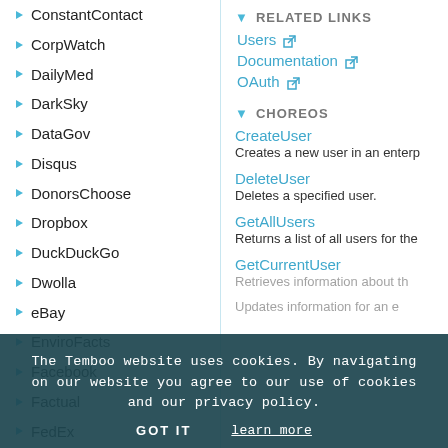ConstantContact
CorpWatch
DailyMed
DarkSky
DataGov
Disqus
DonorsChoose
Dropbox
DuckDuckGo
Dwolla
eBay
EnviroFacts
Facebook
Factual
FedEx
FilesAnywhere
Fitbit
Flickr
Foursquare
Genability
GitHub
Google
GovTrack
RELATED LINKS
Users
Documentation
OAuth
CHOREOS
CreateUser
Creates a new user in an enterp...
DeleteUser
Deletes a specified user.
GetAllUsers
Returns a list of all users for the...
GetCurrentUser
Retrieves information about the...
Updates information for an e...
The Temboo website uses cookies. By navigating on our website you agree to our use of cookies and our privacy policy.